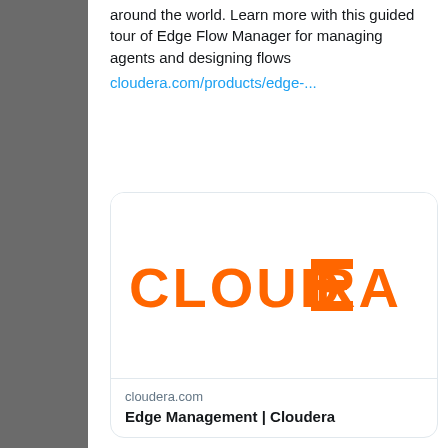around the world. Learn more with this guided tour of Edge Flow Manager for managing agents and designing flows
cloudera.com/products/edge-...
[Figure (logo): Cloudera logo card with orange CLOUDERA wordmark on white background, showing cloudera.com domain and title 'Edge Management | Cloudera']
9
View more on Twitter
Learn more about privacy on Twitter